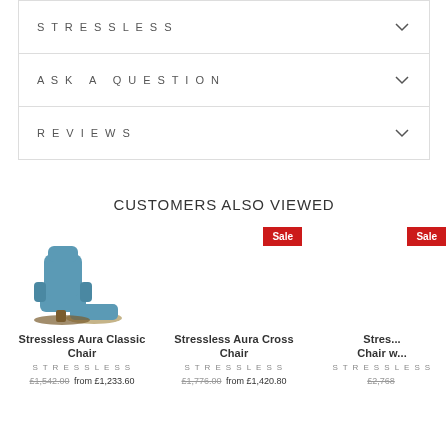STRESSLESS
ASK A QUESTION
REVIEWS
CUSTOMERS ALSO VIEWED
[Figure (photo): Stressless Aura Classic Chair product image in blue]
Stressless Aura Classic Chair
STRESSLESS
£1,542.00  from £1,233.60
Stressless Aura Cross Chair
STRESSLESS
£1,776.00  from £1,420.80
Stres... Chair w...
£2,768...